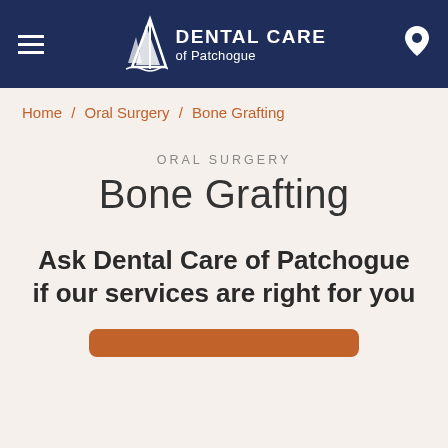DENTAL CARE of Patchogue
Home / Oral Surgery / Bone Grafting
ORAL SURGERY
Bone Grafting
Ask Dental Care of Patchogue if our services are right for you